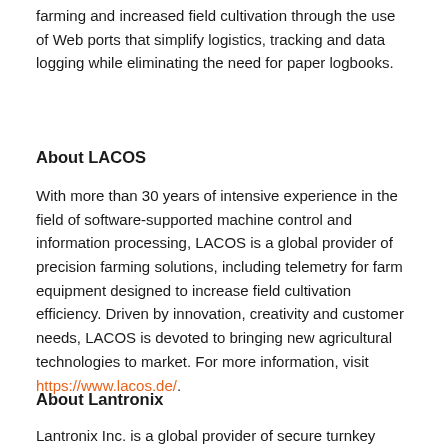farming and increased field cultivation through the use of Web ports that simplify logistics, tracking and data logging while eliminating the need for paper logbooks.
About LACOS
With more than 30 years of intensive experience in the field of software-supported machine control and information processing, LACOS is a global provider of precision farming solutions, including telemetry for farm equipment designed to increase field cultivation efficiency. Driven by innovation, creativity and customer needs, LACOS is devoted to bringing new agricultural technologies to market. For more information, visit https://www.lacos.de/.
About Lantronix
Lantronix Inc. is a global provider of secure turnkey solutions